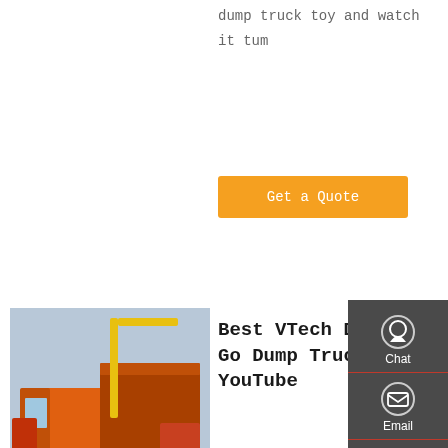dump truck toy and watch it tum
Get a Quote
[Figure (photo): Orange dump truck / heavy-duty truck photographed from the rear-left angle in an outdoor yard setting]
Best VTech Drop And Go Dump Truck - YouTube
Put on your hard cap guide the VTech Drop And Go Dump Truck to it next occupation. Drop the three shake molded balls into the highest point of the truck